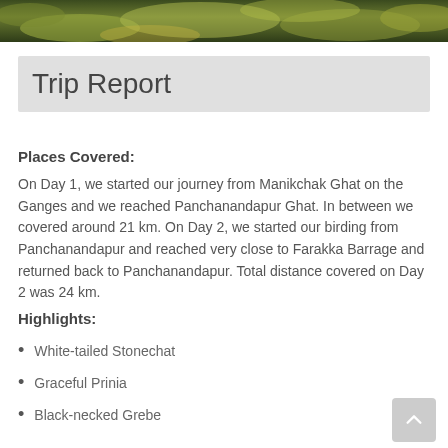[Figure (photo): Outdoor nature photo strip at top showing green vegetation/foliage]
Trip Report
Places Covered:
On Day 1, we started our journey from Manikchak Ghat on the Ganges and we reached Panchanandapur Ghat. In between we covered around 21 km. On Day 2, we started our birding from Panchanandapur and reached very close to Farakka Barrage and returned back to Panchanandapur. Total distance covered on Day 2 was 24 km.
Highlights:
White-tailed Stonechat
Graceful Prinia
Black-necked Grebe